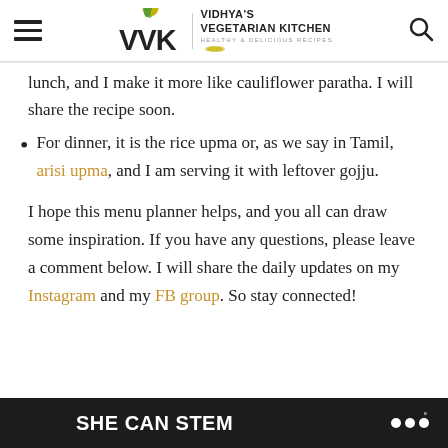Vidhya's Vegetarian Kitchen — Healthy & Delicious Recipes
lunch, and I make it more like cauliflower paratha. I will share the recipe soon.
For dinner, it is the rice upma or, as we say in Tamil, arisi upma, and I am serving it with leftover gojju.
I hope this menu planner helps, and you all can draw some inspiration. If you have any questions, please leave a comment below. I will share the daily updates on my Instagram and my FB group. So stay connected!
SHE CAN STEM